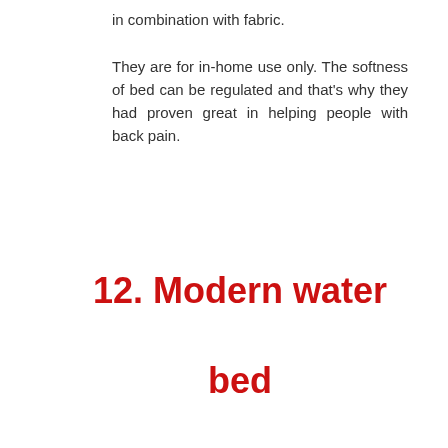in combination with fabric. They are for in-home use only. The softness of bed can be regulated and that's why they had proven great in helping people with back pain.
12. Modern water bed